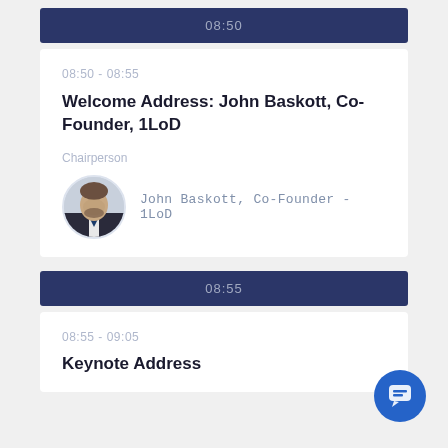08:50
08:50 - 08:55
Welcome Address: John Baskott, Co-Founder, 1LoD
Chairperson
John Baskott, Co-Founder - 1LoD
08:55
08:55 - 09:05
Keynote Address